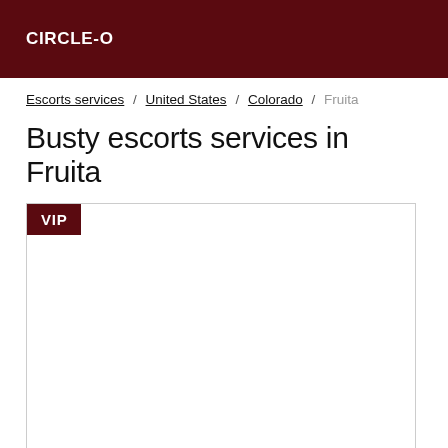CIRCLE-O
Escorts services / United States / Colorado / Fruita
Busty escorts services in Fruita
[Figure (other): VIP listing card placeholder with dark red VIP badge in top-left corner and empty white content area]